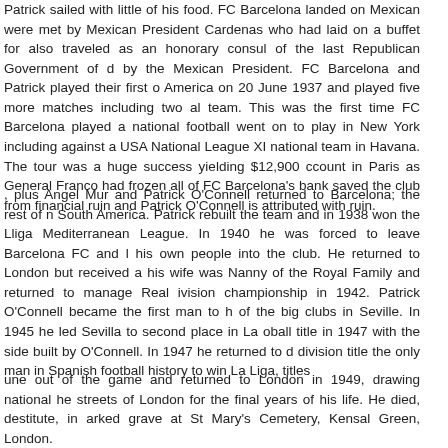Patrick sailed with little of his food. FC Barcelona landed on Mexican were met by Mexican President Cardenas who had laid on a buffet for also traveled as an honorary consul of the last Republican Government of d by the Mexican President. FC Barcelona and Patrick played their first o America on 20 June 1937 and played five more matches including two al team. This was the first time FC Barcelona played a national football went on to play in New York including against a USA National League XI national team in Havana. The tour was a huge success yielding $12,900 ccount in Paris as General Franco had frozen all of FC Barcelona's bank saved the club from financial ruin and Patrick O'Connell is attributed with ruin.
, plus Angel Mur and Patrick O'Connell returned to Barcelona; the rest of n South America. Patrick rebuilt the team and in 1938 won the Lliga Mediterranean League. In 1940 he was forced to leave Barcelona FC and l his own people into the club. He returned to London but received a his wife was Nanny of the Royal Family and returned to manage Real ivision championship in 1942. Patrick O'Connell became the first man to h of the big clubs in Seville. In 1945 he led Sevilla to second place in La oball title in 1947 with the side built by O'Connell. In 1947 he returned to d division title the only man in Spanish football history to win La Liga, titles
une out of the game and returned to London in 1949, drawing national he streets of London for the final years of his life. He died, destitute, in arked grave at St Mary's Cemetery, Kensal Green, London.